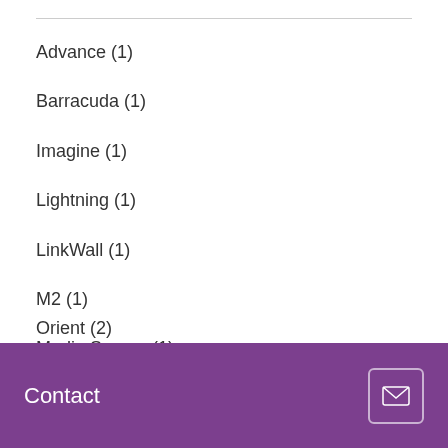Advance (1)
Barracuda (1)
Imagine (1)
Lightning (1)
LinkWall (1)
M2 (1)
Media Screen (1)
MediaScreen (3)
Mini X (1)
Contact
Orient (2)